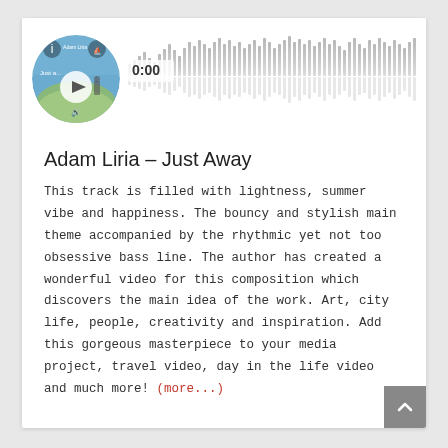[Figure (screenshot): Audio player widget showing a circular album art thumbnail with a play button, and a waveform/progress bar with timestamp 0:00]
Adam Liria – Just Away
This track is filled with lightness, summer vibe and happiness. The bouncy and stylish main theme accompanied by the rhythmic yet not too obsessive bass line. The author has created a wonderful video for this composition which discovers the main idea of the work. Art, city life, people, creativity and inspiration. Add this gorgeous masterpiece to your media project, travel video, day in the life video and much more! (more...)